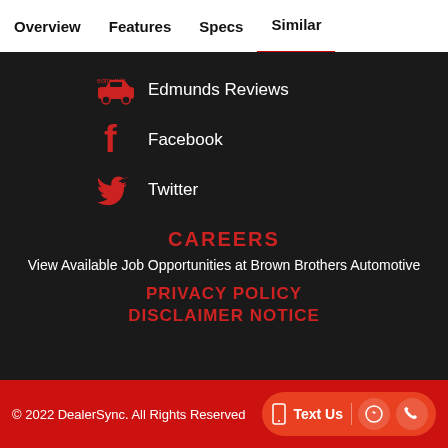Overview  Features  Specs  Similar
Edmunds Reviews
Facebook
Twitter
CAREERS
View Available Job Opportunities at Brown Brothers Automotive
PRIVACY POLICY
DISCLAIMER NOTICE
© 2022 DealerSync. All Rights Reserved